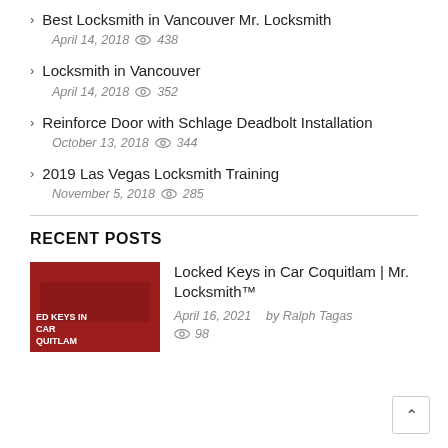Best Locksmith in Vancouver Mr. Locksmith
April 14, 2018  438
Locksmith in Vancouver
April 14, 2018  352
Reinforce Door with Schlage Deadbolt Installation
October 13, 2018  344
2019 Las Vegas Locksmith Training
November 5, 2018  285
RECENT POSTS
Locked Keys in Car Coquitlam | Mr. Locksmith™
April 16, 2021  by Ralph Tagas  98